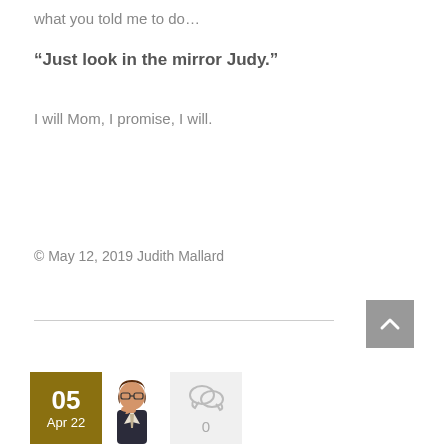what you told me to do…
“Just look in the mirror Judy.”
I will Mom, I promise, I will.
© May 12, 2019 Judith Mallard
[Figure (illustration): Gray scroll-to-top button with upward chevron arrow]
[Figure (other): Date badge showing 05 Apr 22 in olive/gold color, avatar illustration of a woman in business attire, comment icon with count 0]